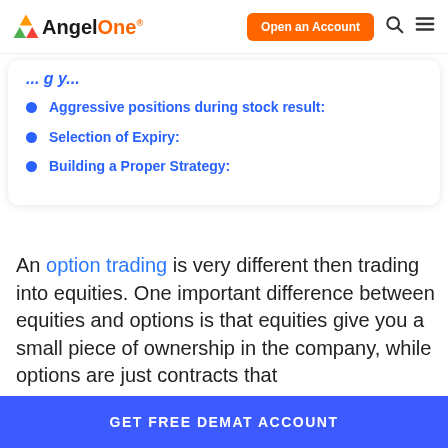AngelOne — Open an Account
Aggressive positions during stock result:
Selection of Expiry:
Building a Proper Strategy:
An option trading is very different then trading into equities. One important difference between equities and options is that equities give you a small piece of ownership in the company, while options are just contracts that
GET FREE DEMAT ACCOUNT